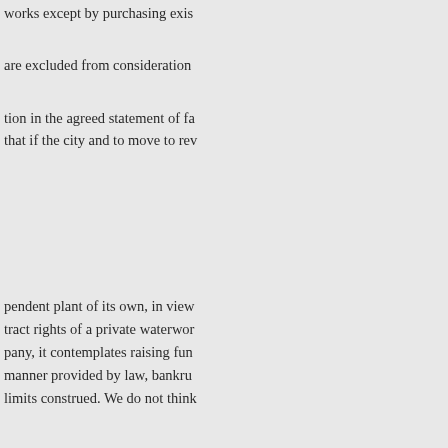works except by purchasing exis
are excluded from consideration
tion in the agreed statement of fa that if the city and to move to rev
pendent plant of its own, in view tract rights of a private waterwor pany, it contemplates raising fun manner provided by law, bankru limits construed. We do not think
stitution and laws. construction s
[No. 27.) Actual knowledge of avail a creditor of the benefits of an equal oppor
28, 1904. tunity with other cre from the United States Circuit hi
Court of Appeals for the Ninth reversing a decree of the of divid Montana. law relied upon by pl